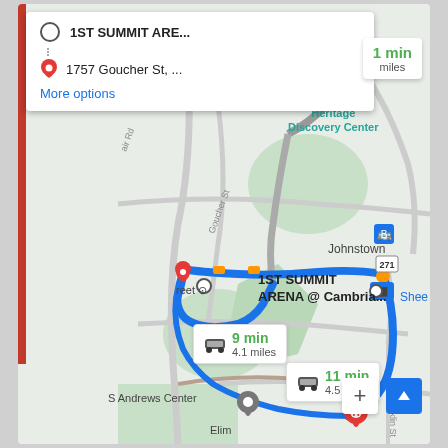[Figure (screenshot): Google Maps screenshot showing directions from 1ST SUMMIT ARENA to 1757 Goucher St. Two route options shown: 9 min (4.1 miles) and 11 min (4.5 miles). Map shows Johnstown area with Heritage Discovery Center, 1ST SUMMIT ARENA @ Cambria, blue route lines, red destination pins, and various map labels.]